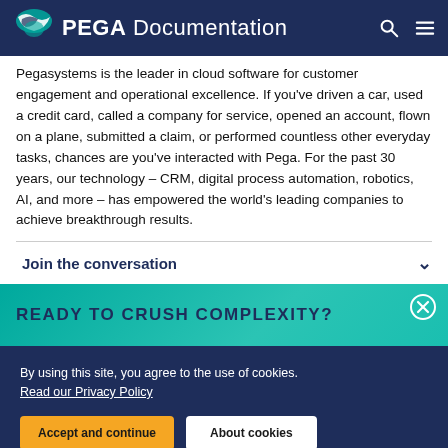PEGA Documentation
Pegasystems is the leader in cloud software for customer engagement and operational excellence. If you’ve driven a car, used a credit card, called a company for service, opened an account, flown on a plane, submitted a claim, or performed countless other everyday tasks, chances are you’ve interacted with Pega. For the past 30 years, our technology – CRM, digital process automation, robotics, AI, and more – has empowered the world’s leading companies to achieve breakthrough results.
Join the conversation
READY TO CRUSH COMPLEXITY?
By using this site, you agree to the use of cookies. Read our Privacy Policy
Accept and continue
About cookies